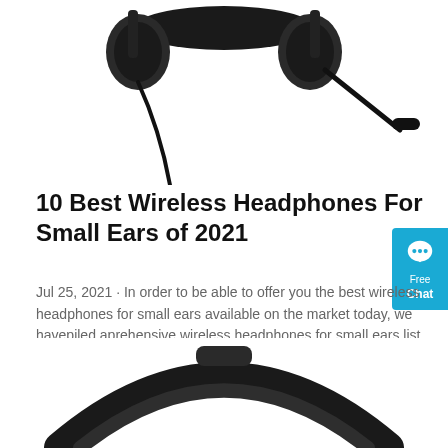[Figure (photo): Top portion of a black wireless headset/headphones with microphone arm, showing the headband and mic, cropped from above.]
10 Best Wireless Headphones For Small Ears of 2021
Jul 25, 2021 · In order to be able to offer you the best wireless headphones for small ears available on the market today, we havepiled aprehensive wireless headphones for small ears list. The best wireless headphones for small ears of 2021 is found after hours of research and using all the current models. See what we ranked below!
[Figure (other): Orange rounded rectangle button labeled 'Get Price']
[Figure (photo): Bottom portion of a black over-ear headphone showing the top of the headband arc, partially cropped at the bottom of the page.]